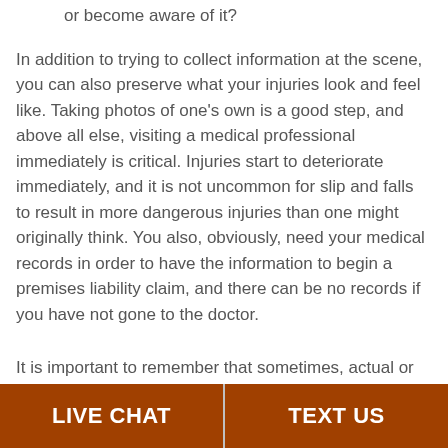or become aware of it?
In addition to trying to collect information at the scene, you can also preserve what your injuries look and feel like. Taking photos of one's own is a good step, and above all else, visiting a medical professional immediately is critical. Injuries start to deteriorate immediately, and it is not uncommon for slip and falls to result in more dangerous injuries than one might originally think. You also, obviously, need your medical records in order to have the information to begin a premises liability claim, and there can be no records if you have not gone to the doctor.
It is important to remember that sometimes, actual or constructive notice of the hazard will simply not be provable. If this is the case in your suit, you may wind up with little
LIVE CHAT   TEXT US